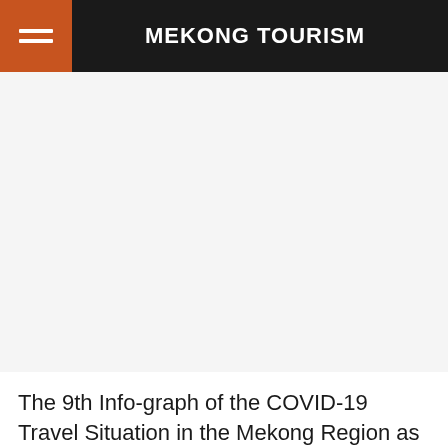MEKONG TOURISM
[Figure (other): White/light grey blank image area below the navigation header]
The 9th Info-graph of the COVID-19 Travel Situation in the Mekong Region as of November 10, 2020, giving a brief summary of travel